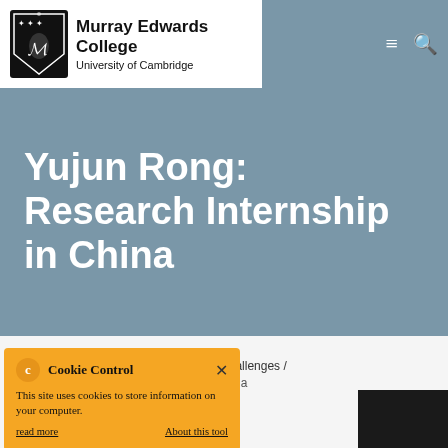Murray Edwards College University of Cambridge
Yujun Rong: Research Internship in China
Home / News / Our Blogs / Gateway Challenges / Yujun Rong: Research Internship in China
01 Dec
During my three-month
Cookie Control — This site uses cookies to store information on your computer. read more | About this tool